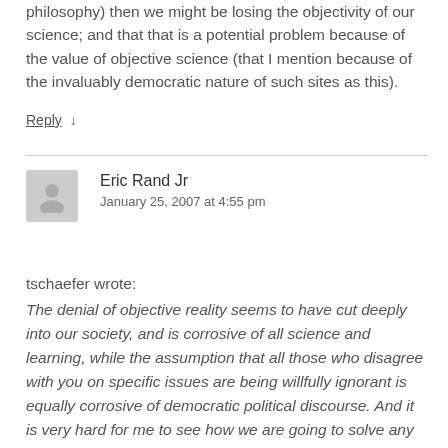philosophy) then we might be losing the objectivity of our science; and that that is a potential problem because of the value of objective science (that I mention because of the invaluably democratic nature of such sites as this).
Reply ↓
Eric Rand Jr
January 25, 2007 at 4:55 pm
tschaefer wrote:
The denial of objective reality seems to have cut deeply into our society, and is corrosive of all science and learning, while the assumption that all those who disagree with you on specific issues are being willfully ignorant is equally corrosive of democratic political discourse. And it is very hard for me to see how we are going to solve any of our problems without